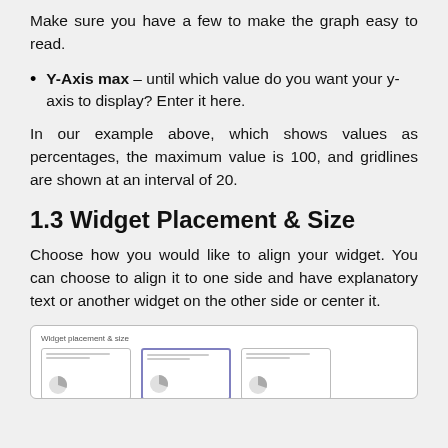Make sure you have a few to make the graph easy to read.
Y-Axis max - until which value do you want your y-axis to display? Enter it here.
In our example above, which shows values as percentages, the maximum value is 100, and gridlines are shown at an interval of 20.
1.3 Widget Placement & Size
Choose how you would like to align your widget. You can choose to align it to one side and have explanatory text or another widget on the other side or center it.
[Figure (screenshot): Screenshot of 'Widget placement & size' UI panel showing three widget layout thumbnail options side by side.]